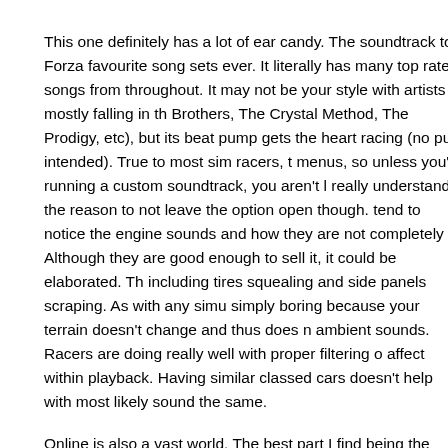This one definitely has a lot of ear candy. The soundtrack to Forza favourite song sets ever. It literally has many top rated songs from throughout. It may not be your style with artists mostly falling in th Brothers, The Crystal Method, The Prodigy, etc), but its beat pump gets the heart racing (no pun intended). True to most sim racers, t menus, so unless you're running a custom soundtrack, you aren't I really understand the reason to not leave the option open though. tend to notice the engine sounds and how they are not completely Although they are good enough to sell it, it could be elaborated. Th including tires squealing and side panels scraping. As with any simu simply boring because your terrain doesn't change and thus does n ambient sounds. Racers are doing really well with proper filtering o affect within playback. Having similar classed cars doesn't help with most likely sound the same.
Online is also a vast world. The best part I find being the communit your custom cars, or uploading your pictures to the web. You can e The tried, tested, and true way to earn some more money is in on act as ranked matches on Xbox Live. Hosts can select a track and t car classes and force aids off, including the break line. Up here in C problems with a couple games but Forza ran nice and smooth. It's